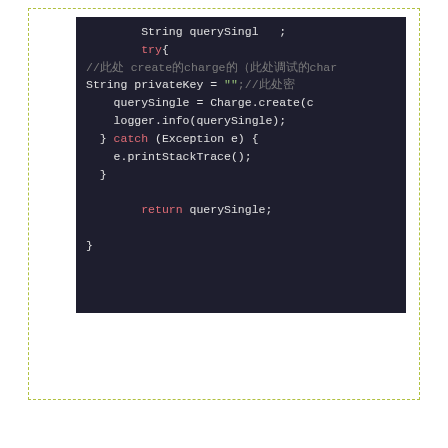[Figure (screenshot): Dark-themed code editor screenshot showing Java code with try-catch block, String privateKey assignment, Charge.create() call, logger.info(), and return statement. Keywords in red/pink, string literal in green.]